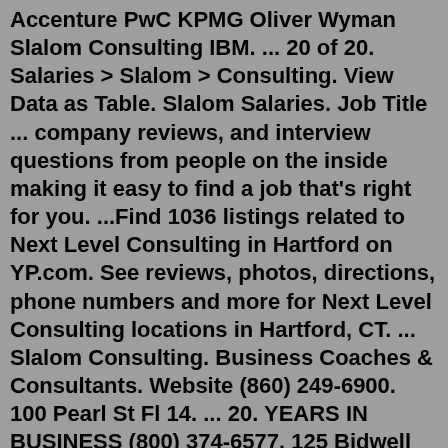Accenture PwC KPMG Oliver Wyman Slalom Consulting IBM. ... 20 of 20. Salaries > Slalom > Consulting. View Data as Table. Slalom Salaries. Job Title ... company reviews, and interview questions from people on the inside making it easy to find a job that's right for you. ...Find 1036 listings related to Next Level Consulting in Hartford on YP.com. See reviews, photos, directions, phone numbers and more for Next Level Consulting locations in Hartford, CT. ... Slalom Consulting. Business Coaches & Consultants. Website (860) 249-6900. 100 Pearl St Fl 14. ... 20. YEARS IN BUSINESS (800) 374-6577. 125 Bidwell Rd 2nd Fl. works at Slalom Consulting Jan 22, 2022 Boston Consulting Group, McKinsey & Company, Bain & Company, Deloitte … more 9 Like 30 Comments Shares 11 works at Accenture Dec 14, 2021 So I'm in Accenture from NYC and there's another cross team consultant on my project from Slalom from San Francisco.The organisers of the BUCS Canoe Slalom event, held at Holme Pierrepont (HPP) 12 and 13 February, are aware of an open...